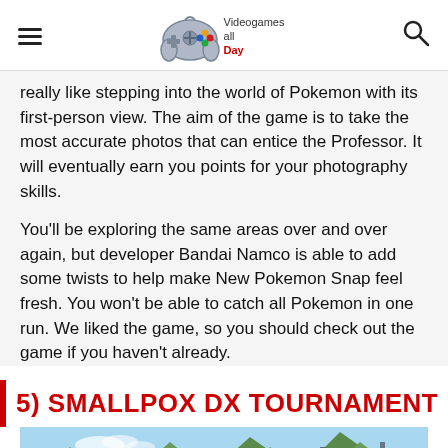Videogames all Day
really like stepping into the world of Pokemon with its first-person view. The aim of the game is to take the most accurate photos that can entice the Professor. It will eventually earn you points for your photography skills.
You'll be exploring the same areas over and over again, but developer Bandai Namco is able to add some twists to help make New Pokemon Snap feel fresh. You won't be able to catch all Pokemon in one run. We liked the game, so you should check out the game if you haven't already.
5) SMALLPOX DX TOURNAMENT
[Figure (photo): Screenshot of a game scene showing mountains and blue sky in the background with orange/yellow creature claws visible in the foreground, and metal structures on the right side.]